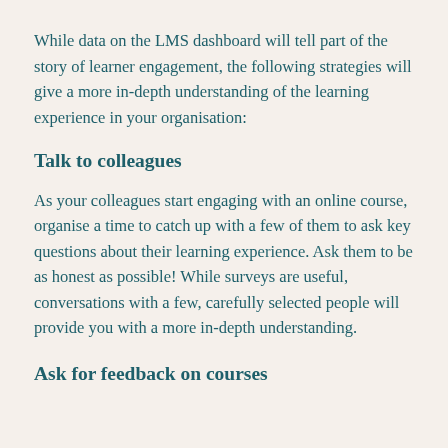While data on the LMS dashboard will tell part of the story of learner engagement, the following strategies will give a more in-depth understanding of the learning experience in your organisation:
Talk to colleagues
As your colleagues start engaging with an online course, organise a time to catch up with a few of them to ask key questions about their learning experience. Ask them to be as honest as possible! While surveys are useful, conversations with a few, carefully selected people will provide you with a more in-depth understanding.
Ask for feedback on courses